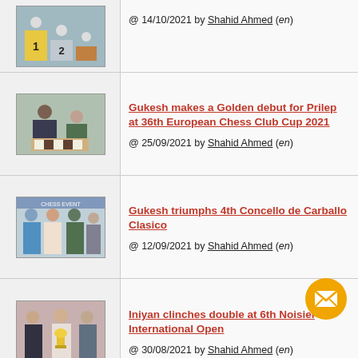[Figure (photo): Chess podium photo with players at positions 1 and 2]
@ 14/10/2021 by Shahid Ahmed (en)
[Figure (photo): Chess player at a board, with others standing behind]
Gukesh makes a Golden debut for Prilep at 36th European Chess Club Cup 2021
@ 25/09/2021 by Shahid Ahmed (en)
[Figure (photo): Group of people posing at a chess event venue]
Gukesh triumphs 4th Concello de Carballo Clasico
@ 12/09/2021 by Shahid Ahmed (en)
[Figure (photo): People holding a trophy at a chess event]
Iniyan clinches double at 6th Noisiel International Open
@ 30/08/2021 by Shahid Ahmed (en)